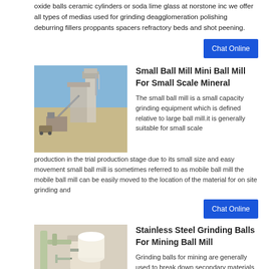oxide balls ceramic cylinders or soda lime glass at norstone inc we offer all types of medias used for grinding deagglomeration polishing deburring fillers proppants spacers refractory beds and shot peening.
Chat Online
Small Ball Mill Mini Ball Mill For Small Scale Mineral
[Figure (photo): Industrial ball mill facility exterior with machinery and silos]
The small ball mill is a small capacity grinding equipment which is defined relative to large ball mill.it is generally suitable for small scale production in the trial production stage due to its small size and easy movement small ball mill is sometimes referred to as mobile ball mill the mobile ball mill can be easily moved to the location of the material for on site grinding and
Chat Online
Stainless Steel Grinding Balls For Mining Ball Mill
[Figure (photo): Industrial grinding mill equipment with pipes and containers]
Grinding balls for mining are generally used to break down secondary materials such as rock